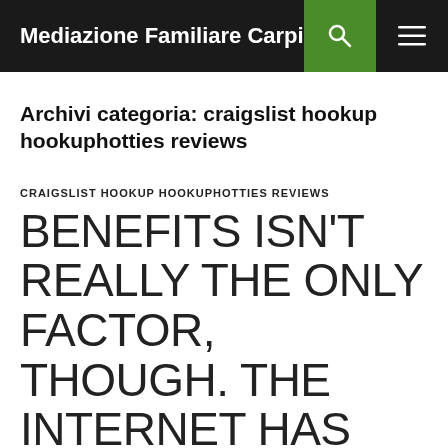Mediazione Familiare Carpi
Archivi categoria: craigslist hookup hookuphotties reviews
CRAIGSLIST HOOKUP HOOKUPHOTTIES REVIEWS
BENEFITS ISN'T REALLY THE ONLY FACTOR, THOUGH. THE INTERNET HAS ACTUALLY PLACE THE GLOBE AT OUR DISPOSAL, AND THEN YOU MAY BE